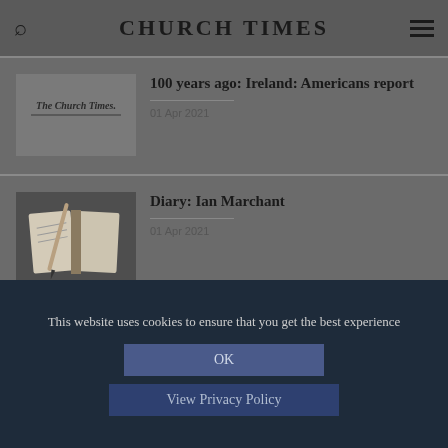CHURCH TIMES
[Figure (logo): The Church Times logo in blackletter/Gothic font]
100 years ago: Ireland: Americans report
01 Apr 2021
[Figure (photo): Photo of an open book with a pen or pencil resting on it]
Diary: Ian Marchant
01 Apr 2021
This website uses cookies to ensure that you get the best experience
OK
View Privacy Policy